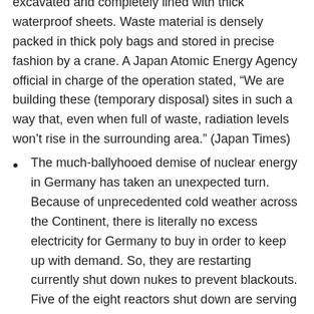excavated and completely lined with thick waterproof sheets. Waste material is densely packed in thick poly bags and stored in precise fashion by a crane. A Japan Atomic Energy Agency official in charge of the operation stated, “We are building these (temporary disposal) sites in such a way that, even when full of waste, radiation levels won’t rise in the surrounding area.” (Japan Times)
The much-ballyhooed demise of nuclear energy in Germany has taken an unexpected turn. Because of unprecedented cold weather across the Continent, there is literally no excess electricity for Germany to buy in order to keep up with demand. So, they are restarting currently shut down nukes to prevent blackouts. Five of the eight reactors shut down are serving as reserve generators in case electricity demand cannot be met from other sources. (Daily Handelsblatt) In other words, the